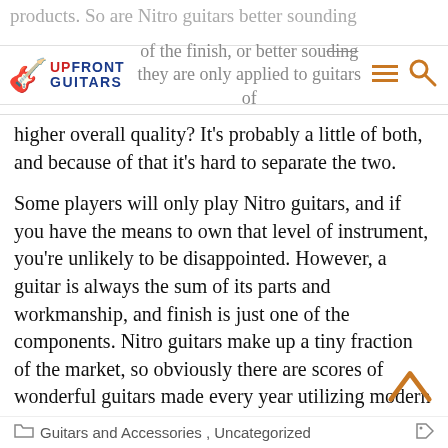products. So are Nitro guitars better sounding because of the finish, or better sounding because they are only applied to guitars of | UPFRONT GUITARS [logo] [menu icon] [search icon]
higher overall quality? It's probably a little of both, and because of that it's hard to separate the two.
Some players will only play Nitro guitars, and if you have the means to own that level of instrument, you're unlikely to be disappointed. However, a guitar is always the sum of its parts and workmanship, and finish is just one of the components. Nitro guitars make up a tiny fraction of the market, so obviously there are scores of wonderful guitars made every year utilizing modern finish chemistries. The finishing method is an indicator, but always let your ears be the guide.
Guitars and Accessories , Uncategorized